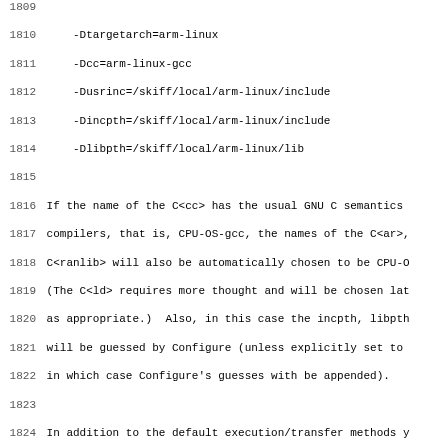Line 1809 (partial/empty)
1810     -Dtargetarch=arm-linux
1811     -Dcc=arm-linux-gcc
1812     -Dusrinc=/skiff/local/arm-linux/include
1813     -Dincpth=/skiff/local/arm-linux/include
1814     -Dlibpth=/skiff/local/arm-linux/lib
1815 (empty)
1816 If the name of the C<cc> has the usual GNU C semantics
1817 compilers, that is, CPU-OS-gcc, the names of the C<ar>,
1818 C<ranlib> will also be automatically chosen to be CPU-O
1819 (The C<ld> requires more thought and will be chosen lat
1820 as appropriate.)  Also, in this case the incpth, libpth
1821 will be guessed by Configure (unless explicitly set to
1822 in which case Configure's guesses with be appended).
1823 (empty)
1824 In addition to the default execution/transfer methods y
1825 choose B<rsh> for execution, and B<rcp> or B<cp> for tr
1826 for example:
1827 (empty)
1828     -Dtargetrun=rsh -Dtargetto=rcp -Dtargetfrom=cp
1829 (empty)
1830 Putting it all together:
1831 (empty)
1832     sh ./Configure -des -Dusecrosscompile \
1833         -Dtargethost=so.me.ho.st \
1834         -Dtargetdir=/tar/get/dir \
1835         -Dtargetuser=root \
1836         -Dtargetarch=arm-linux \
1837         -Dcc=arm-linux-gcc \
1838         -Dusrinc=/skiff/local/arm-linux/include \
1839         -Dincpth=/skiff/local/arm-linux/include \
1840         -Dlibpth=/skiff/local/arm-linux/lib \
1841         -D